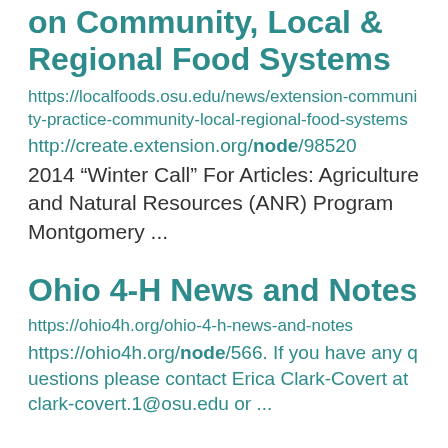on Community, Local & Regional Food Systems
https://localfoods.osu.edu/news/extension-community-practice-community-local-regional-food-systems
http://create.extension.org/node/98520
2014 “Winter Call” For Articles: Agriculture and Natural Resources (ANR) Program Montgomery ...
Ohio 4-H News and Notes
https://ohio4h.org/ohio-4-h-news-and-notes
https://ohio4h.org/node/566. If you have any questions please contact Erica Clark-Covert at clark-covert.1@osu.edu or ...